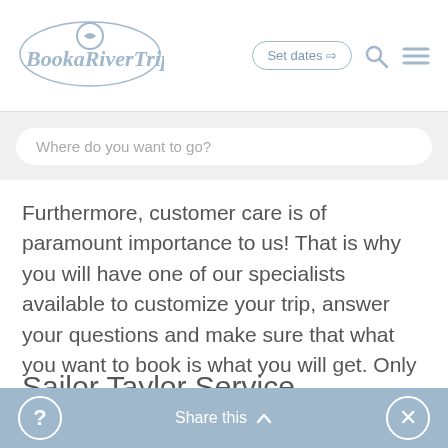[Figure (logo): BookaRiverTrip logo with stylized boat icon in light blue]
Where do you want to go?
Furthermore, customer care is of paramount importance to us! That is why you will have one of our specialists available to customize your trip, answer your questions and make sure that what you want to book is what you will get. Only the best is enough.
Sailor Taylor Service
Share this